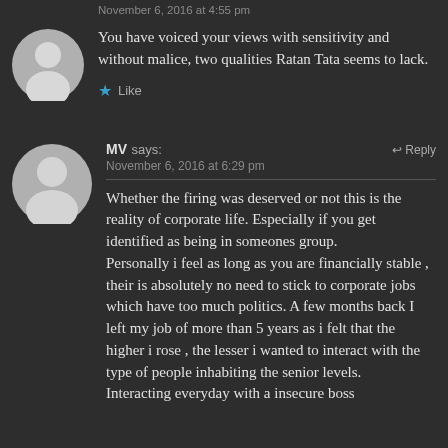November 6, 2016 at 4:55 pm
You have voiced your views with sensitivity and without malice, two qualities Ratan Tata seems to lack.
Like
MV says: November 6, 2016 at 6:29 pm Reply
Whether the firing was deserved or not this is the reality of corporate life. Especially if you get identified as being in someones group.
Personally i feel as long as you are financially stable , their is absolutely no need to stick to corporate jobs which have too much politics. A few months back I left my job of more than 5 years as i felt that the higher i rose , the lesser i wanted to interact with the type of people inhabiting the senior levels.
Interacting everyday with a insecure boss...